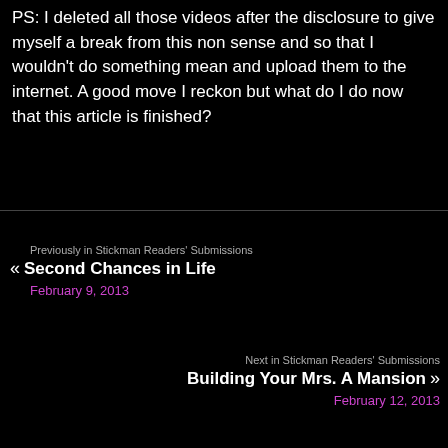PS: I deleted all those videos after the disclosure to give myself a break from this non sense and so that I wouldn't do something mean and upload them to the internet. A good move I reckon but what do I do now that this article is finished?
Previously in Stickman Readers' Submissions
« Second Chances in Life
February 9, 2013
Next in Stickman Readers' Submissions
Building Your Mrs. A Mansion »
February 12, 2013